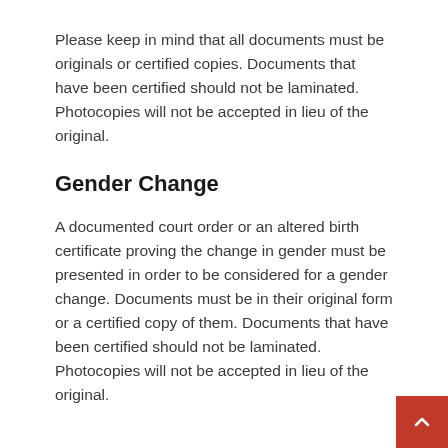Please keep in mind that all documents must be originals or certified copies. Documents that have been certified should not be laminated. Photocopies will not be accepted in lieu of the original.
Gender Change
A documented court order or an altered birth certificate proving the change in gender must be presented in order to be considered for a gender change. Documents must be in their original form or a certified copy of them. Documents that have been certified should not be laminated. Photocopies will not be accepted in lieu of the original.